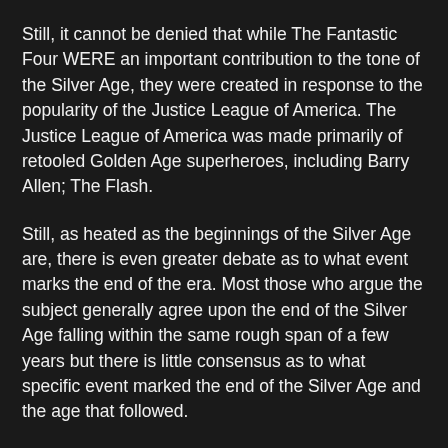Still, it cannot be denied that while The Fantastic Four WERE an important contribution to the tone of the Silver Age, they were created in response to the popularity of the Justice League of America. The Justice League of America was made primarily of retooled Golden Age superheroes, including Barry Allen; The Flash.
Still, as heated as the beginnings of the Silver Age are, there is even greater debate as to what event marks the end of the era. Most those who argue the subject generally agree upon the end of the Silver Age falling within the same rough span of a few years but there is little consensus as to what specific event marked the end of the Silver Age and the age that followed.
I say “the age that followed” because even the name of this age, and its’ very existence is a point of contention among comic historians. There are some who put the end of the Silver Age even further back than the early 70s, marking its end with the death of the hero who they believe started the Silver Age. Barry Allen sacrificed himself to save the